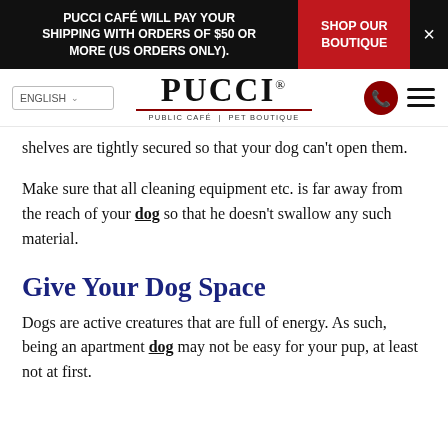PUCCI CAFÉ WILL PAY YOUR SHIPPING WITH ORDERS OF $50 OR MORE (US ORDERS ONLY). | SHOP OUR BOUTIQUE | ×
[Figure (logo): Pucci Public Café | Pet Boutique logo with language selector and navigation icons]
shelves are tightly secured so that your dog can't open them.
Make sure that all cleaning equipment etc. is far away from the reach of your dog so that he doesn't swallow any such material.
Give Your Dog Space
Dogs are active creatures that are full of energy. As such, being an apartment dog may not be easy for your pup, at least not at first.